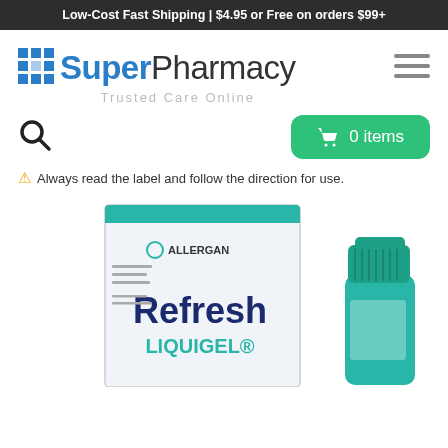Low-Cost Fast Shipping | $4.95 or Free on orders $99+
[Figure (logo): SuperPharmacy logo with blue grid icon, 'Super' in blue bold text and 'Pharmacy' in dark gray, tagline 'Trusted Care Online' below]
[Figure (other): Hamburger menu icon with three horizontal gray lines]
[Figure (other): Search (magnifying glass) icon]
[Figure (other): Green cart button showing shopping cart icon and '0 items']
Always read the label and follow the direction for use.
[Figure (photo): Refresh Liquigel eye drops product — white box with Allergan branding showing 'Refresh LIQUIGEL' text, alongside a green eye drop bottle]